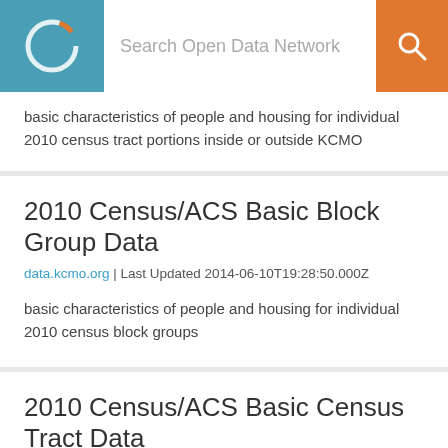Search Open Data Network
basic characteristics of people and housing for individual 2010 census tract portions inside or outside KCMO
2010 Census/ACS Basic Block Group Data
data.kcmo.org | Last Updated 2014-06-10T19:28:50.000Z
basic characteristics of people and housing for individual 2010 census block groups
2010 Census/ACS Basic Census Tract Data